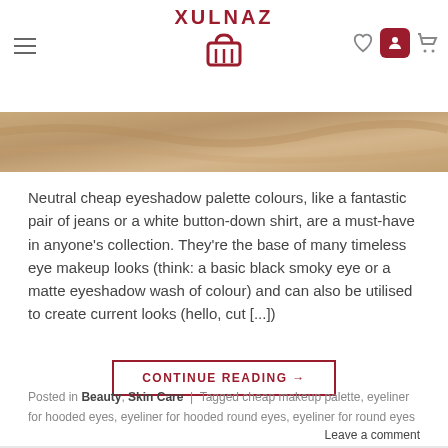XULNAZ (logo with basket icon, hamburger menu, heart icon, user icon, cart icon)
[Figure (photo): Close-up of a tan/beige eyeshadow palette texture]
Neutral cheap eyeshadow palette colours, like a fantastic pair of jeans or a white button-down shirt, are a must-have in anyone's collection. They're the base of many timeless eye makeup looks (think: a basic black smoky eye or a matte eyeshadow wash of colour) and can also be utilised to create current looks (hello, cut [...])
CONTINUE READING →
Posted in Beauty, Skin Care | Tagged cheap makeup palette, eyeliner for hooded eyes, eyeliner for hooded round eyes, eyeliner for round eyes
Leave a comment